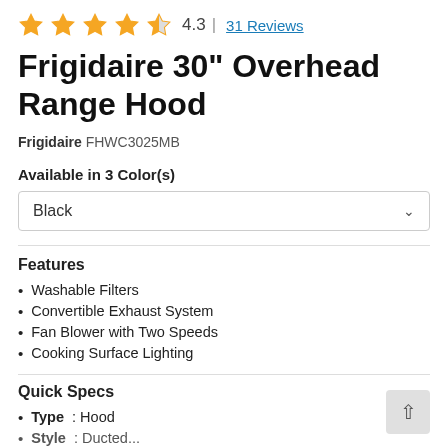[Figure (other): Star rating: 4.3 out of 5, with 4 full gold stars and 1 half gold star, followed by rating 4.3 and link '31 Reviews']
Frigidaire 30" Overhead Range Hood
Frigidaire FHWC3025MB
Available in 3 Color(s)
Black
Features
Washable Filters
Convertible Exhaust System
Fan Blower with Two Speeds
Cooking Surface Lighting
Quick Specs
Type: Hood
Style: Ducted...